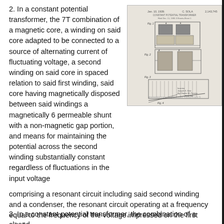2. In a constant potential transformer, the 7T combination of a magnetic core, a winding on said core adapted to be connected to a source of alternating current of fluctuating voltage, a second winding on said core in spaced relation to said first winding, said core having magnetically disposed between said windings a magnetically 6 permeable shunt with a non-magnetic gap portion, and means for maintaining the potential across the second winding substantially constant regardless of fluctuations in the input voltage comprising a resonant circuit including said second winding and a condenser, the resonant circuit operating at a frequency equal to the frequency of the voltage impressed on the first winding.
[Figure (engineering-diagram): Patent drawing dated Jan. 10, 1939, showing diagrams of a constant potential transformer with multiple figures including cross-sectional views and a graph. Patent number 2,143,745. Signed by inventor and attorney.]
3. In a constant potential transformer, the combination of a closed